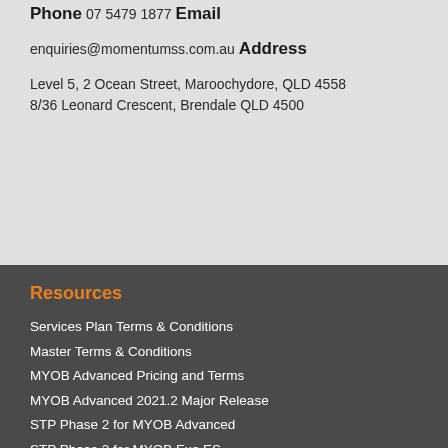Phone
07 5479 1877
Email
enquiries@momentumss.com.au
Address
Level 5, 2 Ocean Street, Maroochydore, QLD 4558
8/36 Leonard Crescent, Brendale QLD 4500
Resources
Services Plan Terms & Conditions
Master Terms & Conditions
MYOB Advanced Pricing and Terms
MYOB Advanced 2021.2 Major Release
STP Phase 2 for MYOB Advanced
STP Phase 2 for MYOB Exe ES